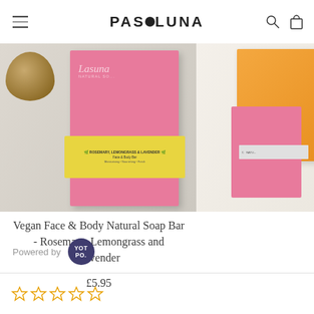PASOLUNA
[Figure (photo): Product photo of Vegan Face & Body Natural Soap Bar - Rosemary, Lemongrass and Lavender in pink box with yellow label, next to coconut half. Second product partially visible on right.]
Vegan Face & Body Natural Soap Bar - Rosemary, Lemongrass and Lavender
£5.95
Powered by YOT PO.
[Figure (other): Five empty star rating icons in gold/yellow outline]